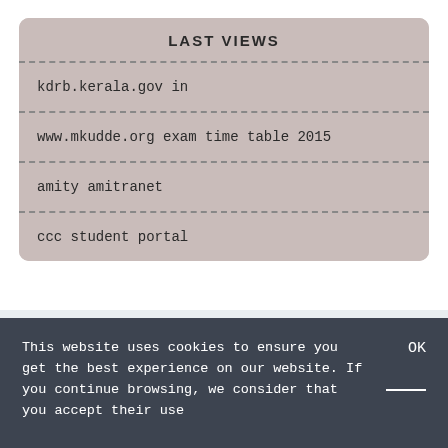LAST VIEWS
kdrb.kerala.gov in
www.mkudde.org exam time table 2015
amity amitranet
ccc student portal
This website uses cookies to ensure you get the best experience on our website. If you continue browsing, we consider that you accept their use
OK